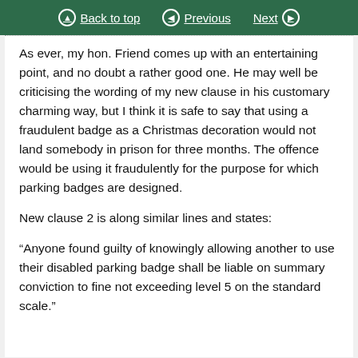Back to top | Previous | Next
As ever, my hon. Friend comes up with an entertaining point, and no doubt a rather good one. He may well be criticising the wording of my new clause in his customary charming way, but I think it is safe to say that using a fraudulent badge as a Christmas decoration would not land somebody in prison for three months. The offence would be using it fraudulently for the purpose for which parking badges are designed.
New clause 2 is along similar lines and states:
“Anyone found guilty of knowingly allowing another to use their disabled parking badge shall be liable on summary conviction to fine not exceeding level 5 on the standard scale.”